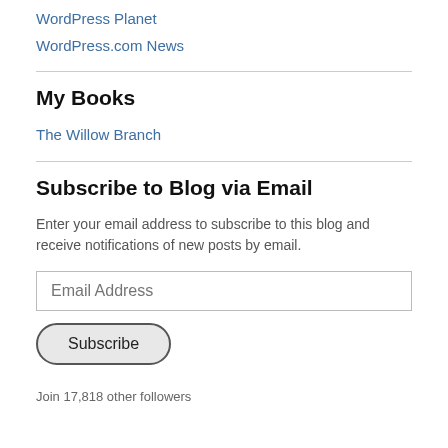WordPress Planet
WordPress.com News
My Books
The Willow Branch
Subscribe to Blog via Email
Enter your email address to subscribe to this blog and receive notifications of new posts by email.
Email Address
Subscribe
Join 17,818 other followers